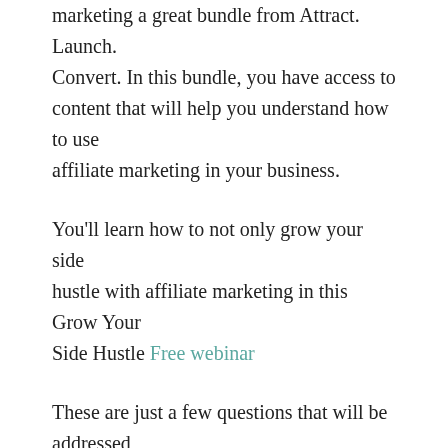marketing a great bundle from Attract. Launch. Convert. In this bundle, you have access to content that will help you understand how to use affiliate marketing in your business.
You'll learn how to not only grow your side hustle with affiliate marketing in this Grow Your Side Hustle Free webinar
These are just a few questions that will be addressed
*Do you know how to use affiliate marketing?
*How to use affiliate marketing to grow your